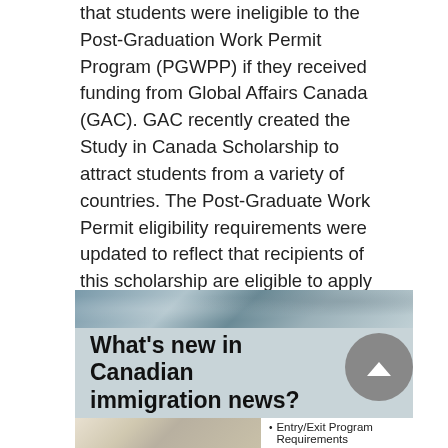that students were ineligible to the Post-Graduation Work Permit Program (PGWPP) if they received funding from Global Affairs Canada (GAC). GAC recently created the Study in Canada Scholarship to attract students from a variety of countries. The Post-Graduate Work Permit eligibility requirements were updated to reflect that recipients of this scholarship are eligible to apply for the PGWPP.
[Figure (photo): Decorative banner image with muted blue-grey tones, appears to show maps or documents]
What's new in Canadian immigration news?
[Figure (photo): Bottom image showing papers or documents with blue tones, partially visible]
Entry/Exit Program Requirements